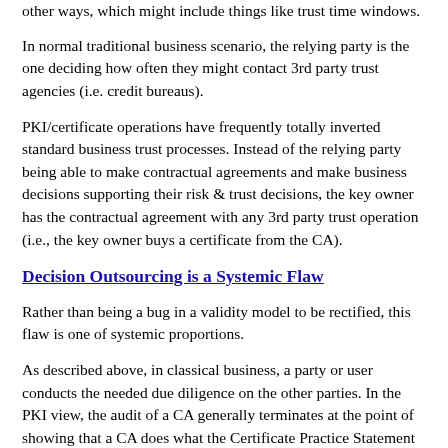other ways, which might include things like trust time windows.
In normal traditional business scenario, the relying party is the one deciding how often they might contact 3rd party trust agencies (i.e. credit bureaus).
PKI/certificate operations have frequently totally inverted standard business trust processes. Instead of the relying party being able to make contractual agreements and make business decisions supporting their risk & trust decisions, the key owner has the contractual agreement with any 3rd party trust operation (i.e., the key owner buys a certificate from the CA).
Decision Outsourcing is a Systemic Flaw
Rather than being a bug in a validity model to be rectified, this flaw is one of systemic proportions.
As described above, in classical business, a party or user conducts the needed due diligence on the other parties. In the PKI view, the audit of a CA generally terminates at the point of showing that a CA does what the Certificate Practice Statement ("CPS") says.